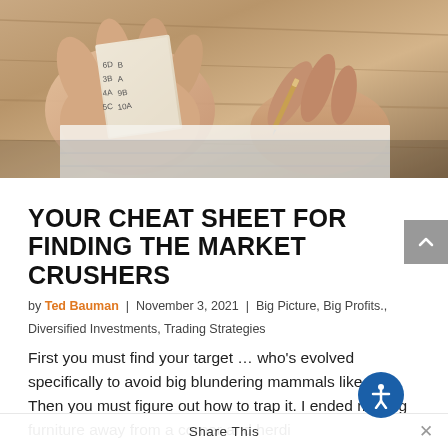[Figure (photo): Close-up photo of hands holding a small handwritten cheat sheet/note with numbers and letters, with another hand writing in a notebook, wooden surface background]
YOUR CHEAT SHEET FOR FINDING THE MARKET CRUSHERS
by Ted Bauman | November 3, 2021 | Big Picture, Big Profits., Diversified Investments, Trading Strategies
First you must find your target … who's evolved specifically to avoid big blundering mammals like us. Then you must figure out how to trap it. I ended moving furniture away from a corner and herding it